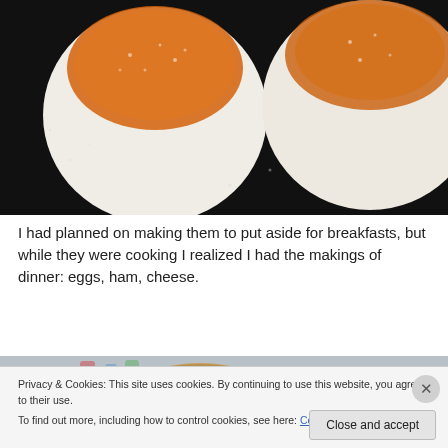[Figure (photo): Two English muffins being cooked on a dark pan, showing golden-browned tops with cornmeal dusting]
I had planned on making them to put aside for breakfasts, but while they were cooking I realized I had the makings of dinner: eggs, ham, cheese.
[Figure (photo): A toasted English muffin on a plate with colorful items in the background]
Privacy & Cookies: This site uses cookies. By continuing to use this website, you agree to their use.
To find out more, including how to control cookies, see here: Cookie Policy